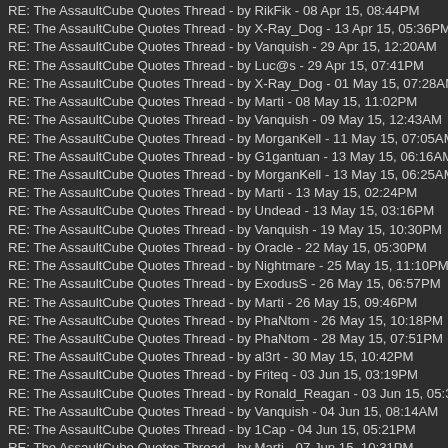RE: The AssaultCube Quotes Thread - by RikFik - 08 Apr 15, 08:44PM
RE: The AssaultCube Quotes Thread - by X-Ray_Dog - 13 Apr 15, 05:36PM
RE: The AssaultCube Quotes Thread - by Vanquish - 29 Apr 15, 12:20AM
RE: The AssaultCube Quotes Thread - by Luc@s - 29 Apr 15, 07:41PM
RE: The AssaultCube Quotes Thread - by X-Ray_Dog - 01 May 15, 07:28AM
RE: The AssaultCube Quotes Thread - by Marti - 08 May 15, 11:02PM
RE: The AssaultCube Quotes Thread - by Vanquish - 09 May 15, 12:43AM
RE: The AssaultCube Quotes Thread - by MorganKell - 11 May 15, 07:05AM
RE: The AssaultCube Quotes Thread - by G1gantuan - 13 May 15, 06:16AM
RE: The AssaultCube Quotes Thread - by MorganKell - 13 May 15, 06:25AM
RE: The AssaultCube Quotes Thread - by Marti - 13 May 15, 02:24PM
RE: The AssaultCube Quotes Thread - by Undead - 13 May 15, 03:16PM
RE: The AssaultCube Quotes Thread - by Vanquish - 19 May 15, 10:30PM
RE: The AssaultCube Quotes Thread - by Oracle - 22 May 15, 05:30PM
RE: The AssaultCube Quotes Thread - by Nightmare - 25 May 15, 11:10PM
RE: The AssaultCube Quotes Thread - by ExodusS - 26 May 15, 06:57PM
RE: The AssaultCube Quotes Thread - by Marti - 26 May 15, 09:46PM
RE: The AssaultCube Quotes Thread - by PhaNtom - 26 May 15, 10:18PM
RE: The AssaultCube Quotes Thread - by PhaNtom - 28 May 15, 07:51PM
RE: The AssaultCube Quotes Thread - by al3rt - 30 May 15, 10:42PM
RE: The AssaultCube Quotes Thread - by Friteq - 03 Jun 15, 03:19PM
RE: The AssaultCube Quotes Thread - by Ronald_Reagan - 03 Jun 15, 05:35P
RE: The AssaultCube Quotes Thread - by Vanquish - 04 Jun 15, 08:14AM
RE: The AssaultCube Quotes Thread - by 1Cap - 04 Jun 15, 05:21PM
RE: The AssaultCube Quotes Thread - by Marti - 07 Jun 15, 10:31PM